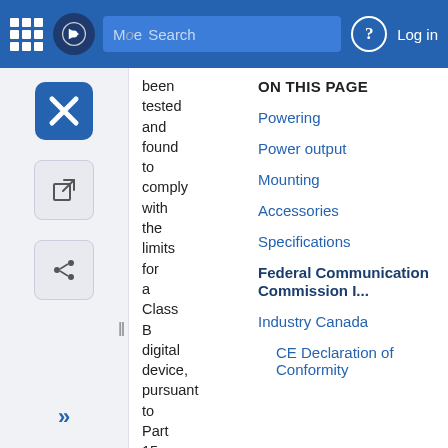More Search Log in
been tested and found to comply with the limits for a Class B digital device, pursuant to Part 15 of the
ON THIS PAGE
Powering
Power output
Mounting
Accessories
Specifications
Federal Communication Commission I...
Industry Canada
CE Declaration of Conformity